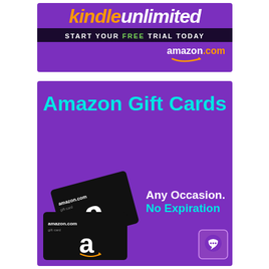[Figure (advertisement): Kindle Unlimited advertisement banner on purple background. Text reads: 'kindle unlimited - START YOUR FREE TRIAL TODAY' with amazon.com logo.]
[Figure (advertisement): Amazon Gift Cards advertisement on purple background. Large cyan text 'Amazon Gift Cards', two black Amazon gift cards shown, text reads 'Any Occasion. No Expiration' in white and cyan.]